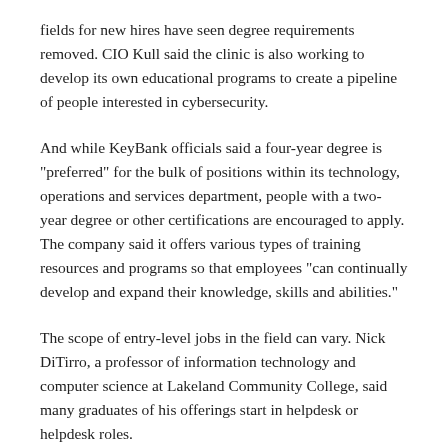fields for new hires have seen degree requirements removed. CIO Kull said the clinic is also working to develop its own educational programs to create a pipeline of people interested in cybersecurity.
And while KeyBank officials said a four-year degree is “preferred” for the bulk of positions within its technology, operations and services department, people with a two-year degree or other certifications are encouraged to apply. The company said it offers various types of training resources and programs so that employees “can continually develop and expand their knowledge, skills and abilities.”
The scope of entry-level jobs in the field can vary. Nick DiTirro, a professor of information technology and computer science at Lakeland Community College, said many graduates of his offerings start in helpdesk or helpdesk roles.